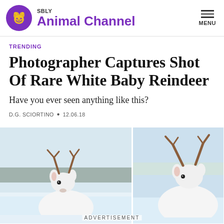SBLY Animal Channel
TRENDING
Photographer Captures Shot Of Rare White Baby Reindeer
Have you ever seen anything like this?
D.G. SCIORTINO • 12.06.18
[Figure (photo): Two side-by-side photos of a rare white baby reindeer in a snowy landscape. Left photo shows the reindeer facing the camera with small antlers. Right photo shows the back of the reindeer with antlers visible above.]
ADVERTISEMENT